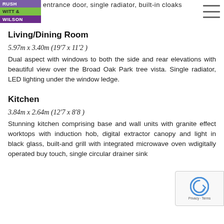entrance door, single radiator, built-in cloaks
[Figure (logo): Rush Witt & Wilson estate agency logo with three colored blocks: purple (RUSH), green (WITT &), purple (WILSON)]
Living/Dining Room
5.97m x 3.40m (19'7 x 11'2)
Dual aspect with windows to both the side and rear elevations with beautiful view over the Broad Oak Park tree vista. Single radiator, LED lighting under the window ledge.
Kitchen
3.84m x 2.64m (12'7 x 8'8)
Stunning kitchen comprising base and wall units with granite effect worktops with induction hob, digital extractor canopy and light in black glass, built- and grill with integrated microwave oven w digitally operated buy touch, single circular drainer sink